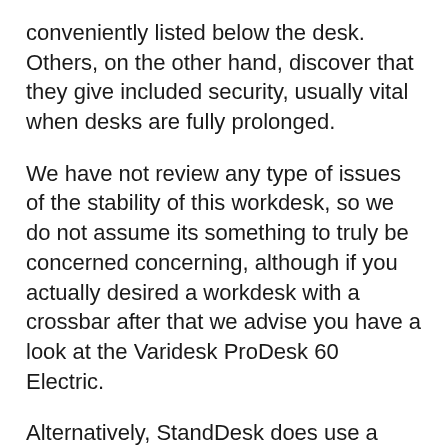conveniently listed below the desk. Others, on the other hand, discover that they give included security, usually vital when desks are fully prolonged.
We have not review any type of issues of the stability of this workdesk, so we do not assume its something to truly be concerned concerning, although if you actually desired a workdesk with a crossbar after that we advise you have a look at the Varidesk ProDesk 60 Electric.
Alternatively, StandDesk does use a separate add-on bar that you can add to the desk on your own, just for an additional $49.95.